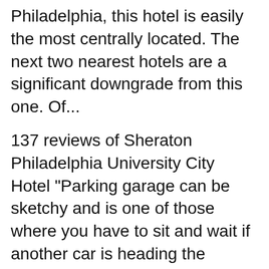Philadelphia, this hotel is easily the most centrally located. The next two nearest hotels are a significant downgrade from this one. Of...
137 reviews of Sheraton Philadelphia University City Hotel "Parking garage can be sketchy and is one of those where you have to sit and wait if another car is heading the opposite direction around a turn. It was also hard to find as the signs are... I spent the night here on Saturday May 26th, 2012. 201 N. 17TH STREET PHILADELPHIA, PA 19103 1-215-448-2000 hey there I am going to do a hotel review tonight and again I've I neglected to take any video of this hotel because I wasn't really